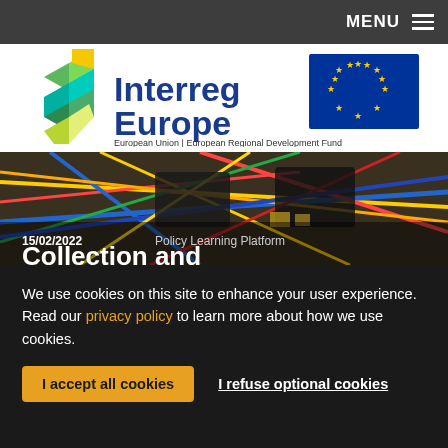MENU ☰
[Figure (logo): Interreg Europe logo with European Union flag and text 'European Union | European Regional Development Fund']
[Figure (photo): Photo of electronic wires and circuit components on a desk, with overlaid text '15/02/2022  Policy Learning Platform' and 'Collection and...']
We use cookies on this site to enhance your user experience. Read our privacy policy to learn more about how we use cookies.
I accept all cookies
I refuse optional cookies